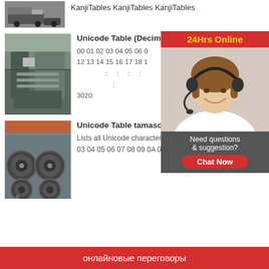[Figure (photo): Truck/vehicle image at top left]
KanjiTables KanjiTables KanjiTables
[Figure (photo): Industrial factory/machinery interior]
Unicode Table (Decimal... 00 01 02 03 04 05 06 0... 12 13 14 15 16 17 18 1... □□□□: □: □: □: □□□□□: □... 3020: □
[Figure (photo): Customer service representative with headset - chat widget]
24Hrs Online
Need questions & suggestion?
Chat Now
[Figure (photo): Industrial coils/rolls warehouse]
Unicode Table tamasofte...jp
Lists all Unicode characters 00 01 02 03 04 05 06 07 08 09 0A 0B 0C 0D
онлайновые переговоры